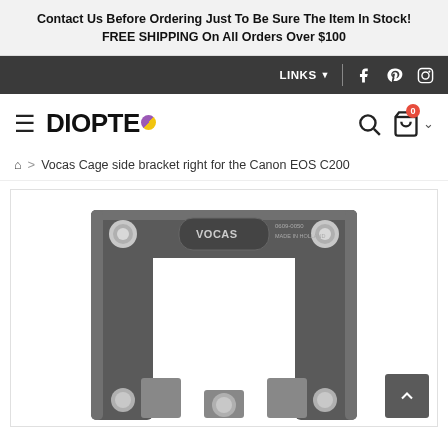Contact Us Before Ordering Just To Be Sure The Item In Stock!
FREE SHIPPING On All Orders Over $100
LINKS  f  pinterest  instagram
DIOPTEO
Home > Vocas Cage side bracket right for the Canon EOS C200
[Figure (photo): Vocas cage side bracket for Canon EOS C200 - dark grey metal bracket with Vocas branding and screws visible, U-shaped frame component]